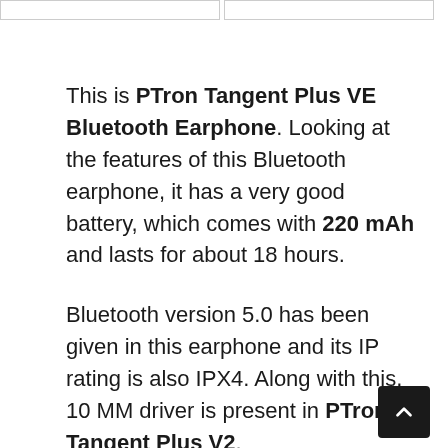This is PTron Tangent Plus VE Bluetooth Earphone. Looking at the features of this Bluetooth earphone, it has a very good battery, which comes with 220 mAh and lasts for about 18 hours.
Bluetooth version 5.0 has been given in this earphone and its IP rating is also IPX4. Along with this, 10 MM driver is present in PTron Tangent Plus V2.
Fast charging has been given in this earphone with Type-C port which charges earphones in just 1 hour. You can also control